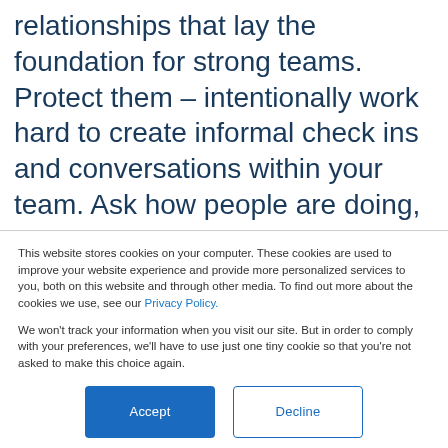relationships that lay the foundation for strong teams. Protect them – intentionally work hard to create informal check ins and conversations within your team. Ask how people are doing, talk about the weather, create dialogue that is stress free and interesting. One of the best ways of doing
This website stores cookies on your computer. These cookies are used to improve your website experience and provide more personalized services to you, both on this website and through other media. To find out more about the cookies we use, see our Privacy Policy.
We won't track your information when you visit our site. But in order to comply with your preferences, we'll have to use just one tiny cookie so that you're not asked to make this choice again.